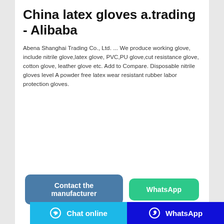China latex gloves a.trading - Alibaba
Abena Shanghai Trading Co., Ltd. ... We produce working glove, include nitrile glove,latex glove, PVC,PU glove,cut resistance glove, cotton glove, leather glove etc. Add to Compare. Disposable nitrile gloves level A powder free latex wear resistant rubber labor protection gloves.
[Figure (screenshot): Blue button labeled 'Contact the manufacturer' and green button labeled 'WhatsApp']
[Figure (photo): Two green latex gloves partially visible at the bottom of the page]
Chat online | WhatsApp